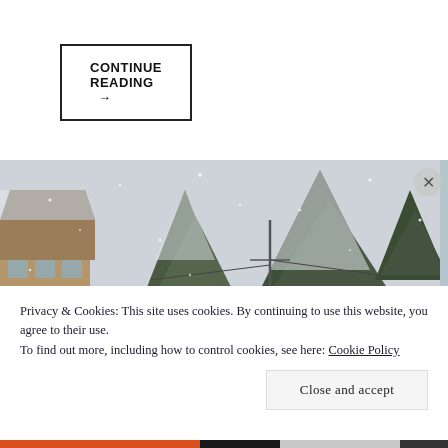CONTINUE READING →
[Figure (photo): Snowy winter scene with snow-covered pine trees and a stone building on the left, heavy snowfall visible]
Privacy & Cookies: This site uses cookies. By continuing to use this website, you agree to their use.
To find out more, including how to control cookies, see here: Cookie Policy
Close and accept